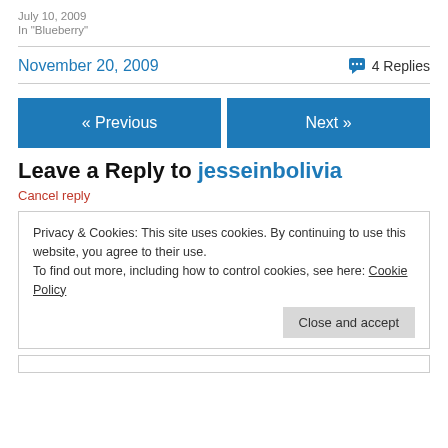July 10, 2009
In "Blueberry"
November 20, 2009
4 Replies
« Previous
Next »
Leave a Reply to jesseinbolivia
Cancel reply
Privacy & Cookies: This site uses cookies. By continuing to use this website, you agree to their use.
To find out more, including how to control cookies, see here: Cookie Policy
Close and accept